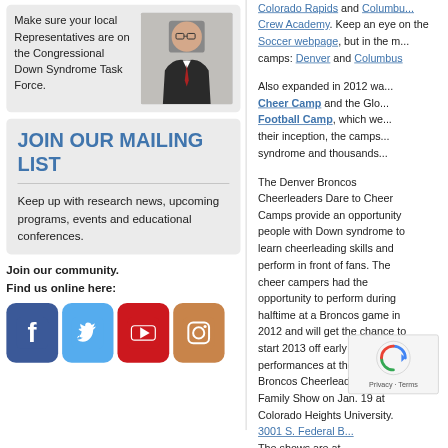Make sure your local Representatives are on the Congressional Down Syndrome Task Force.
[Figure (photo): Photo of a man in a suit speaking at a podium or microphone]
JOIN OUR MAILING LIST
Keep up with research news, upcoming programs, events and educational conferences.
Join our community.
Find us online here:
[Figure (infographic): Social media icons: Facebook (blue), Twitter (light blue), YouTube (red), Instagram (brown/tan)]
Colorado Rapids and Columbus Crew Academy. Keep an eye on the Soccer webpage, but in the meantime, camps: Denver and Columbus
Also expanded in 2012 was the Dare to Cheer Camp and the Global Down Syndrome Football Camp, which we... their inception, the camps... syndrome and thousands...
The Denver Broncos Cheerleaders Dare to Cheer Camps provide an opportunity people with Down syndrome to learn cheerleading skills and perform in front of fans. The cheer campers had the opportunity to perform during halftime at a Broncos game in 2012 and will get the chance to start 2013 off early with two performances at the Denver Broncos Cheerleaders Friends Family Show on Jan. 19 at Colorado Heights University. 3001 S. Federal B... The shows are at... game.
The Dare to Play Football...